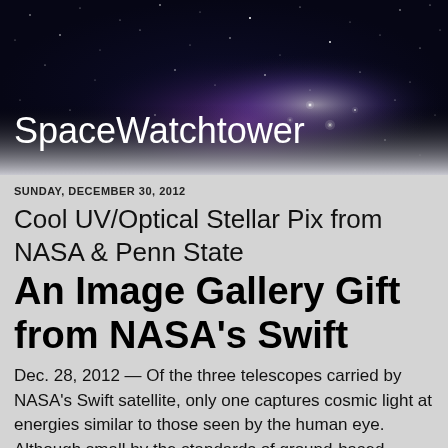[Figure (photo): Space/night sky background with stars and nebula in dark blue and purple tones, used as website header banner]
SpaceWatchtower
SUNDAY, DECEMBER 30, 2012
Cool UV/Optical Stellar Pix from NASA & Penn State
An Image Gallery Gift from NASA's Swift
Dec. 28, 2012 — Of the three telescopes carried by NASA's Swift satellite, only one captures cosmic light at energies similar to those seen by the human eye. Although small by the standards of ground-based observatories, Swift's Ultraviolet/Optical Telescope (UVOT) plays a critical role in rapidly pinpointing the locations of gamma-ray bursts (GRBs), the brightest explosions in the cosmos.